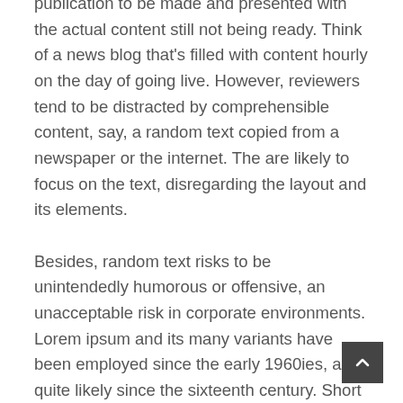publication to be made and presented with the actual content still not being ready. Think of a news blog that's filled with content hourly on the day of going live. However, reviewers tend to be distracted by comprehensible content, say, a random text copied from a newspaper or the internet. The are likely to focus on the text, disregarding the layout and its elements. Besides, random text risks to be unintendedly humorous or offensive, an unacceptable risk in corporate environments. Lorem ipsum and its many variants have been employed since the early 1960ies, and quite likely since the sixteenth century. Short sleeve crewneck t-shirt in white in a professional context it often happens that private or corporate clients corder a publication to be made and presented with the actual content still not being ready. Think of a news blog that's filled with content hourly on the day of going live. However, reviewers tend to be distracted by comprehensible content, say, a random text copied from a newspaper or the internet. The are likely to focus on the text